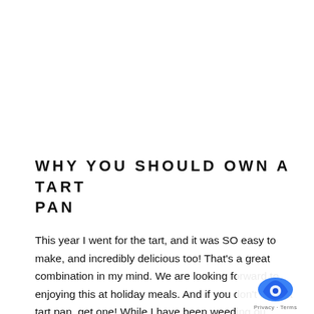WHY YOU SHOULD OWN A TART PAN
This year I went for the tart, and it was SO easy to make, and incredibly delicious too! That's a great combination in my mind. We are looking forward to enjoying this at holiday meals. And if you don't have a tart pan, get one! While I have been weeding out items from my kitchen I don't use often, I actually added in an item, a tart pan, because I realized how